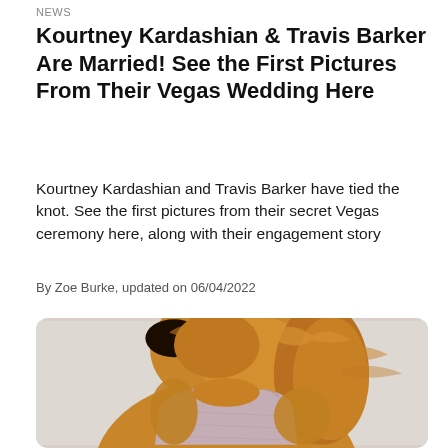NEWS
Kourtney Kardashian & Travis Barker Are Married! See the First Pictures From Their Vegas Wedding Here
Kourtney Kardashian and Travis Barker have tied the knot. See the first pictures from their secret Vegas ceremony here, along with their engagement story
By Zoe Burke, updated on 06/04/2022
[Figure (photo): A golden/brown fluffy dog wearing a light mauve/pink sleeveless top, shown from behind/side angle against a light background]